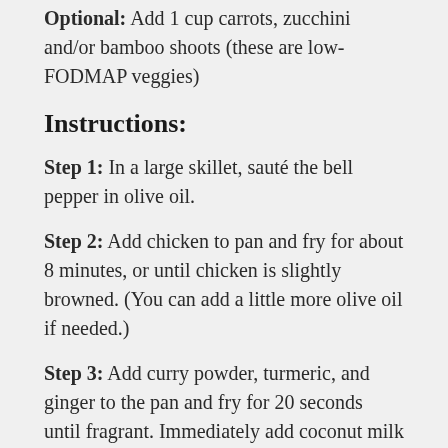Optional: Add 1 cup carrots, zucchini and/or bamboo shoots (these are low-FODMAP veggies)
Instructions:
Step 1: In a large skillet, sauté the bell pepper in olive oil.
Step 2: Add chicken to pan and fry for about 8 minutes, or until chicken is slightly browned. (You can add a little more olive oil if needed.)
Step 3: Add curry powder, turmeric, and ginger to the pan and fry for 20 seconds until fragrant. Immediately add coconut milk and stir to combine.
Step 4: Add chicken broth and tapioca powder to thicken the sauce. Add salt and stir in to